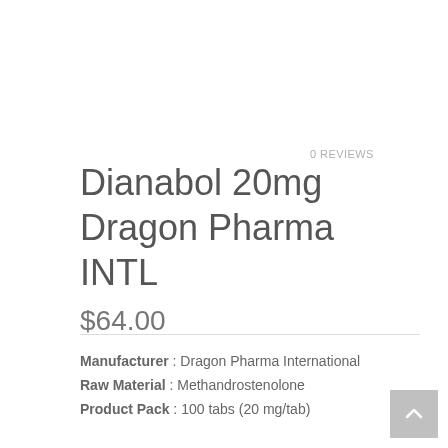0 REVIEWS
Dianabol 20mg Dragon Pharma INTL
$64.00
Manufacturer : Dragon Pharma International
Raw Material : Methandrostenolone
Product Pack : 100 tabs (20 mg/tab)